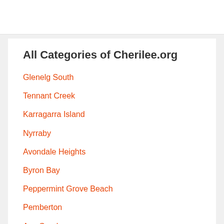All Categories of Cherilee.org
Glenelg South
Tennant Creek
Karragarra Island
Nyrraby
Avondale Heights
Byron Bay
Peppermint Grove Beach
Pemberton
Axe Creek
Diapur